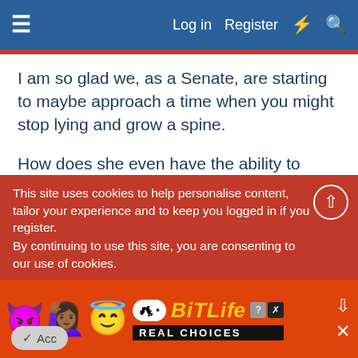≡   Log in   Register   ⚡   🔍
I am so glad we, as a Senate, are starting to maybe approach a time when you might stop lying and grow a spine.
How does she even have the ability to stand? She should be a spineless puddle on the floor. I hope she loses so bad. She is the worst. Always plays the “maybe I will side with the D’s on this, I need to think” card on every issue and never does squat but follow along.
This site uses cookies to help personalise content, tailor your experience and to keep you logged in if you register.
By continuing to use this site, you are consenting to our use of cookies.
[Figure (screenshot): Advertisement banner for BitLife game with emoji characters (devil, woman, angel) and BitLife logo with 'REAL CHOICES' text on orange/red background]